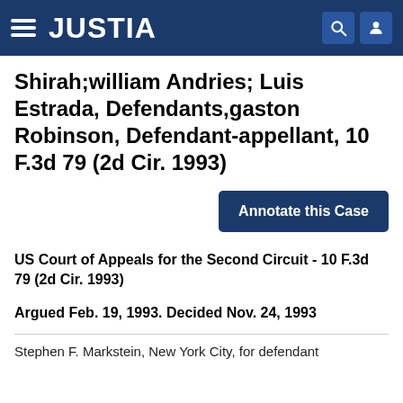JUSTIA
Shirah;william Andries; Luis Estrada, Defendants,gaston Robinson, Defendant-appellant, 10 F.3d 79 (2d Cir. 1993)
Annotate this Case
US Court of Appeals for the Second Circuit - 10 F.3d 79 (2d Cir. 1993)
Argued Feb. 19, 1993. Decided Nov. 24, 1993
Stephen F. Markstein, New York City, for defendant